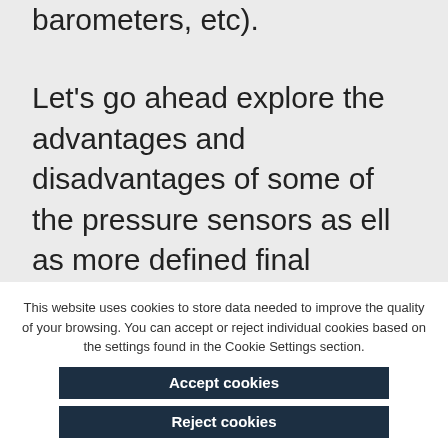barometers, etc).
Let's go ahead explore the advantages and disadvantages of some of the pressure sensors as ell as more defined final applications per each.
Capacitive
This website uses cookies to store data needed to improve the quality of your browsing. You can accept or reject individual cookies based on the settings found in the Cookie Settings section.
Accept cookies
Reject cookies